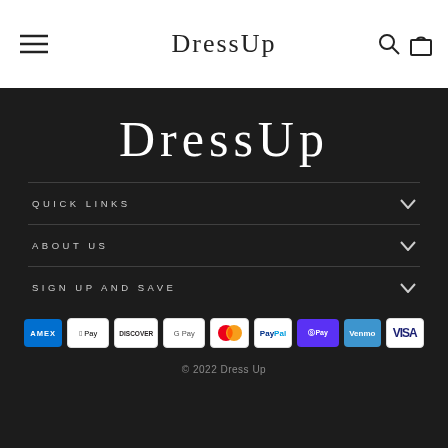DressUp
DressUp
QUICK LINKS
ABOUT US
SIGN UP AND SAVE
[Figure (other): Payment method icons: Amex, Apple Pay, Discover, Google Pay, Mastercard, PayPal, Shop Pay, Venmo, Visa]
© 2022 Dress Up